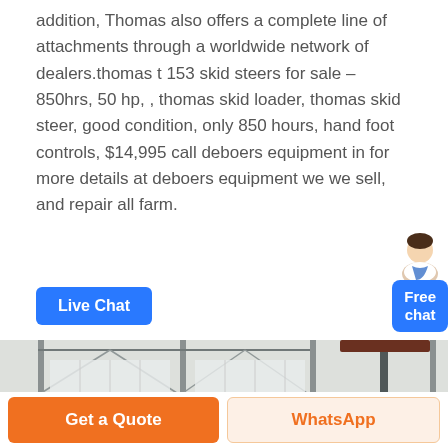addition, Thomas also offers a complete line of attachments through a worldwide network of dealers.thomas t 153 skid steers for sale – 850hrs, 50 hp, , thomas skid loader, thomas skid steer, good condition, only 850 hours, hand foot controls, $14,995 call deboers equipment in for more details at deboers equipment we we sell, and repair all farm.
[Figure (screenshot): Blue 'Live Chat' button]
[Figure (screenshot): Free chat widget with avatar and blue button]
[Figure (photo): Interior of a warehouse/farm equipment building with steel structure, equipment parts visible including orange/brown saddle-shaped components, fence in foreground]
[Figure (screenshot): Bottom bar with orange 'Get a Quote' button and light orange 'WhatsApp' button]